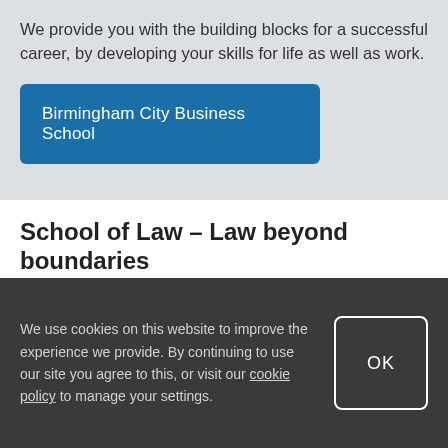We provide you with the building blocks for a successful career, by developing your skills for life as well as work.
Birmingham City Business School
School of Law - Law beyond boundaries
At Birmingham City School of Law, we believe that a
We use cookies on this website to improve the experience we provide. By continuing to use our site you agree to this, or visit our cookie policy to manage your settings.
OK